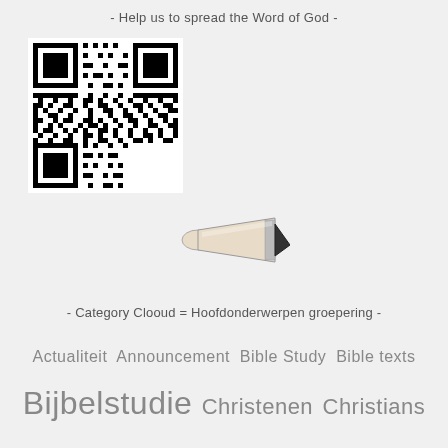- Help us to spread the Word of God -
[Figure (other): QR code black and white square barcode]
[Figure (illustration): A pencil or pen illustration pointing diagonally]
- Category Clooud = Hoofdonderwerpen groepering -
Actualiteit  Announcement  Bible Study  Bible texts
Bijbelstudie  Christenen  Christians